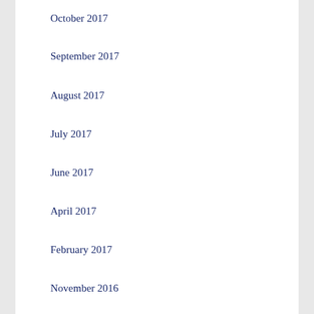October 2017
September 2017
August 2017
July 2017
June 2017
April 2017
February 2017
November 2016
October 2016
September 2016